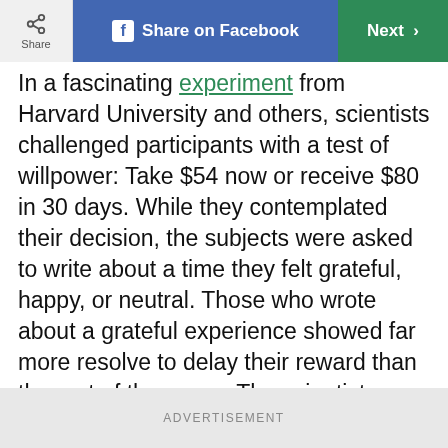Share | Share on Facebook | Next
In a fascinating experiment from Harvard University and others, scientists challenged participants with a test of willpower: Take $54 now or receive $80 in 30 days. While they contemplated their decision, the subjects were asked to write about a time they felt grateful, happy, or neutral. Those who wrote about a grateful experience showed far more resolve to delay their reward than the rest of the group. The scientists believe gratitude fostered long-term thinking, which bolstered willpower. These powerful gratitude quotes will remind you to be grateful everyday.
ADVERTISEMENT